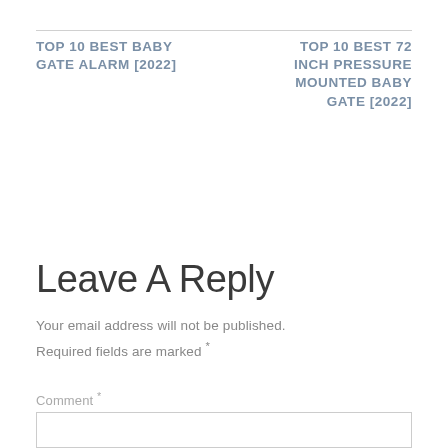TOP 10 BEST BABY GATE ALARM [2022]
TOP 10 BEST 72 INCH PRESSURE MOUNTED BABY GATE [2022]
Leave A Reply
Your email address will not be published. Required fields are marked *
Comment *